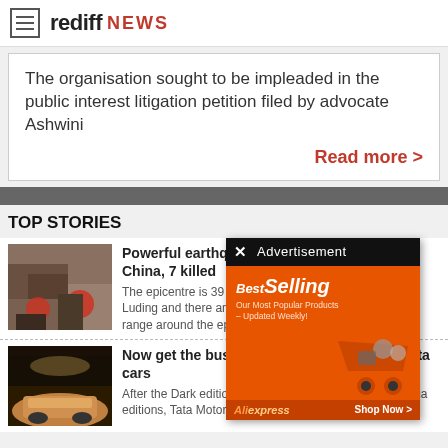rediff NEWS
The organisation sought to be impleaded in the public interest litigation petition filed by advocate Ashwini
Read more >
TOP STORIES
[Figure (photo): Earthquake debris with rescue workers in red]
Powerful earthquake hits China, 7 killed
The epicentre is 39 Luding and there are range around the ep
[Figure (infographic): BestSelling advertisement from AliExpress on orange background]
[Figure (photo): Tata car in showroom with warm lighting]
Now get the business class experience in Tata cars
After the Dark edition followed by the Gold and Kaziranga editions, Tata Motors now introduces the Jet